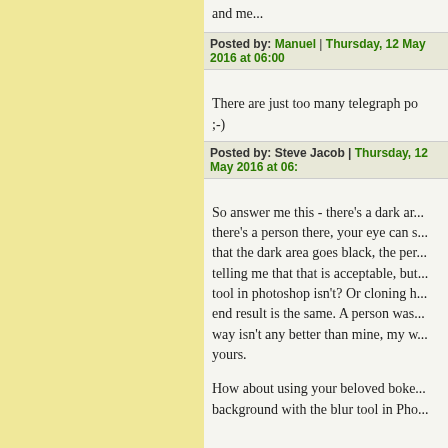and me...
Posted by: Manuel | Thursday, 12 May 2016 at 06:00
There are just too many telegraph po... ;-)
Posted by: Steve Jacob | Thursday, 12 May 2016 at 06:
So answer me this - there's a dark ar... there's a person there, your eye can s... that the dark area goes black, the per... telling me that that is acceptable, but... tool in photoshop isn't? Or cloning h... end result is the same. A person was... way isn't any better than mine, my w... yours.
How about using your beloved boke... background with the blur tool in Pho...